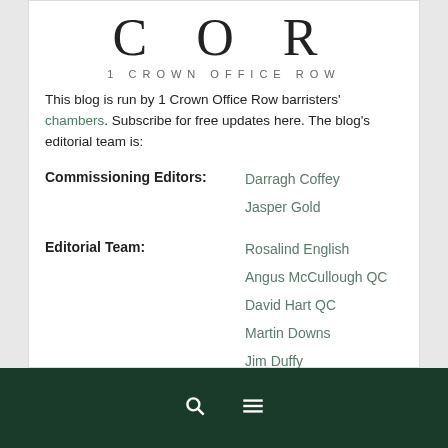COR
1 CROWN OFFICE ROW
This blog is run by 1 Crown Office Row barristers' chambers. Subscribe for free updates here. The blog's editorial team is:
| Role | Names |
| --- | --- |
| Commissioning Editors: | Darragh Coffey
Jasper Gold |
| Editorial Team: | Rosalind English
Angus McCullough QC
David Hart QC
Martin Downs
Jim Duffy
Jonathan Metzer |
Search and Menu icons